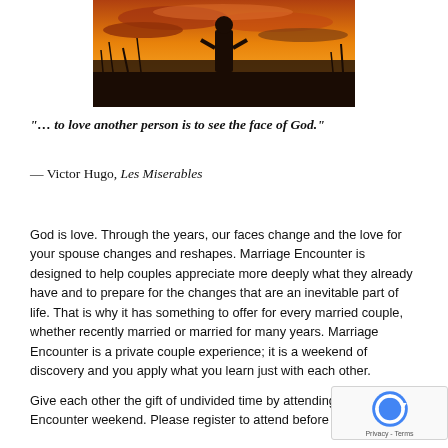[Figure (photo): Silhouette of a person standing in a field at sunset with dramatic orange and golden sky]
“… to love another person is to see the face of God.”
—  Victor Hugo, Les Miserables
God is love.  Through the years, our faces change and the love for your spouse changes and reshapes.    Marriage Encounter is designed to help couples appreciate more deeply what they already have and to prepare for the changes that are an inevitable part of life.  That is why it has something to offer for every married couple, whether recently married or married for many years.  Marriage Encounter is a private couple experience; it is a weekend of discovery and you apply what you learn just with each other.
Give each other the gift of undivided time by attending a Marriage Encounter weekend.  Please register to attend before May 15 and...